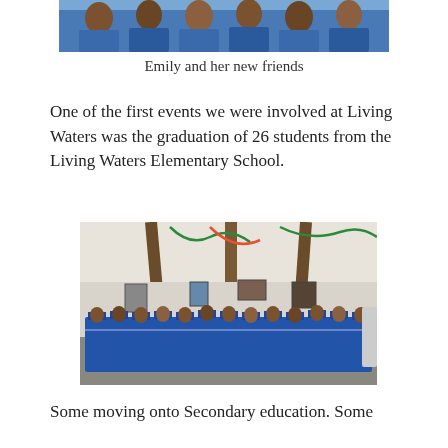[Figure (photo): Top portion of a photo showing children in blue school uniforms smiling]
Emily and her new friends
One of the first events we were involved at Living Waters was the graduation of 26 students from the Living Waters Elementary School.
[Figure (photo): Group photo of 26 students in blue graduation gowns and caps seated inside a decorated school hall]
Some moving onto Secondary education. Some